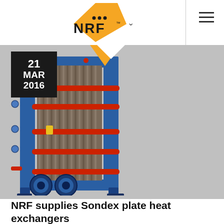NRF
[Figure (photo): Industrial plate heat exchanger (Sondex) — blue metal frame with red pipe connections and corrugated plates visible through open side, with circular inlet/outlet flanges at bottom]
NRF supplies Sondex plate heat exchangers
Sondex plate heat exchangers are characterized by high